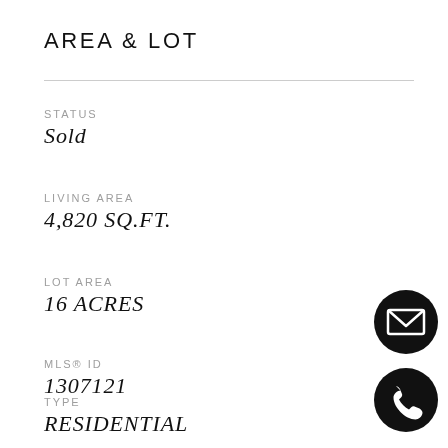AREA & LOT
STATUS
Sold
LIVING AREA
4,820 SQ.FT.
LOT AREA
16 ACRES
MLS® ID
1307121
TYPE
RESIDENTIAL
[Figure (illustration): Black circular button with white envelope/email icon]
[Figure (illustration): Black circular button with white telephone/phone icon]